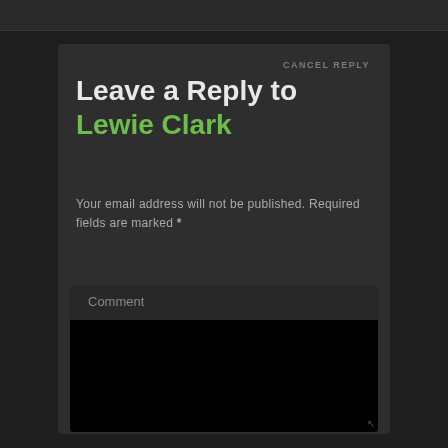CANCEL REPLY
Leave a Reply to Lewie Clark
Your email address will not be published. Required fields are marked *
Comment